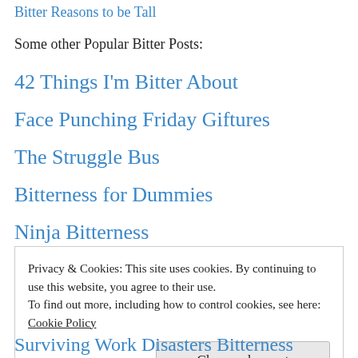Bitter Reasons to be Tall
Some other Popular Bitter Posts:
42 Things I'm Bitter About
Face Punching Friday Giftures
The Struggle Bus
Bitterness for Dummies
Ninja Bitterness
Privacy & Cookies: This site uses cookies. By continuing to use this website, you agree to their use. To find out more, including how to control cookies, see here: Cookie Policy
Surviving Work Disasters Bitterness